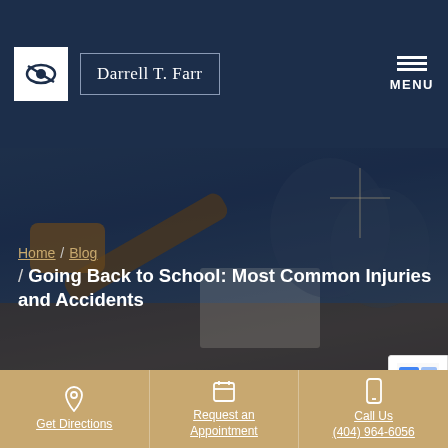Darrell T. Farr | MENU
[Figure (screenshot): Dark blue courtroom hero image with gavel and justice scales in background, partially visible hands at a desk]
Home / Blog / Going Back to School: Most Common Injuries and Accidents
Get Directions
Request an Appointment
Call Us (404) 964-6056